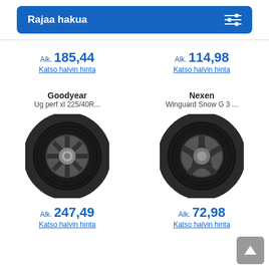Rajaa hakua
Alk. 185,44
Katso halvin hinta
Alk. 114,98
Katso halvin hinta
Goodyear
Ug perf xl 225/40R...
[Figure (photo): Goodyear winter tire Ug perf xl 225/40R]
Nexen
Winguard Snow G 3 ...
[Figure (photo): Nexen Winguard Snow G 3 winter tire]
Alk. 247,49
Katso halvin hinta
Alk. 72,98
Katso halvin hinta